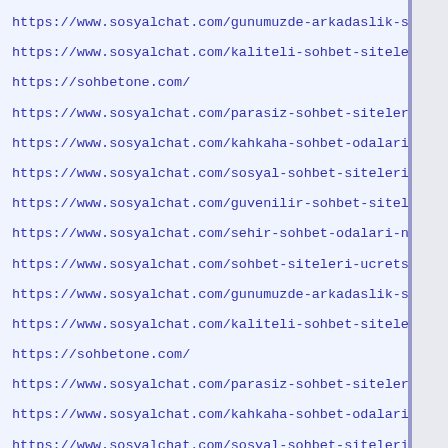https://www.sosyalchat.com/gunumuzde-arkadaslik-sohbet-odal
https://www.sosyalchat.com/kaliteli-sohbet-siteleri-nasil-f
https://sohbetone.com/
https://www.sosyalchat.com/parasiz-sohbet-siteleri/
https://www.sosyalchat.com/kahkaha-sohbet-odalari/
https://www.sosyalchat.com/sosyal-sohbet-siteleri-kimleri-h
https://www.sosyalchat.com/guvenilir-sohbet-siteleri-nasil-
https://www.sosyalchat.com/sehir-sohbet-odalari-nedir-kimle
https://www.sosyalchat.com/sohbet-siteleri-ucretsiz-uyeliks
https://www.sosyalchat.com/gunumuzde-arkadaslik-sohbet-odal
https://www.sosyalchat.com/kaliteli-sohbet-siteleri-nasil-f
https://sohbetone.com/
https://www.sosyalchat.com/parasiz-sohbet-siteleri/
https://www.sosyalchat.com/kahkaha-sohbet-odalari/
https://www.sosyalchat.com/sosyal-sohbet-siteleri-kimleri-h